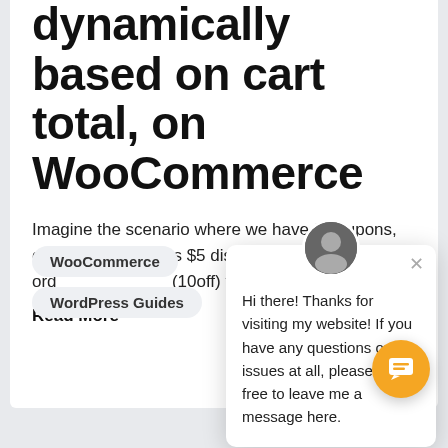dynamically based on cart total, on WooCommerce
Imagine the scenario where we have 2 coupons, one (5off) that gives $5 discount to the total client ord… (10off) that gives $1…
Read More
WooCommerce
WordPress Guides
[Figure (screenshot): Chat popup widget with avatar, close button, and message: Hi there! Thanks for visiting my website! If you have any questions or issues at all, please feel free to leave me a message here.]
[Figure (other): Orange circular chat FAB button with chat icon]